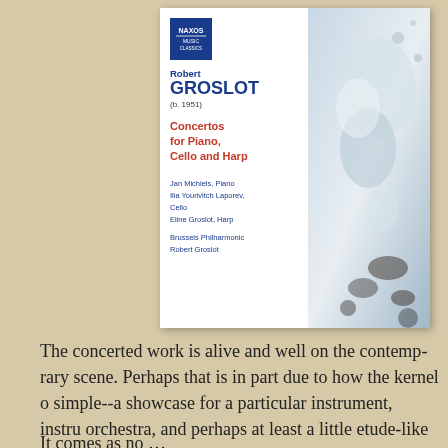[Figure (illustration): Naxos album cover for Robert Groslot (b. 1951) Concertos for Piano, Cello and Harp. Left panel: white background with composer name in blue, concertos title in red, performers listed in blue. Right panel: abstract artistic photograph of a figure. Performers: Jan Michiels, Piano; Ilia Yourivitch Laporev, Cello; Eline Groslot, Harp; Brussels Philharmonic; Robert Groslot.]
The concerted work is alive and well on the contemporary scene. Perhaps that is in part due to how the kernel of the genre is simple--a showcase for a particular instrument, instruments or orchestra, and perhaps at least a little etude-like demands of its soloist(s), though that does not always hold true.
It comes as no surprise of the breadth of the forms...